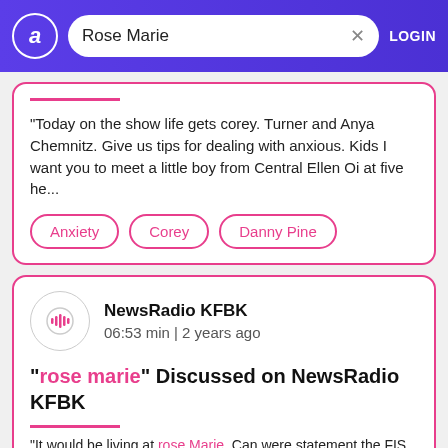Search: Rose Marie — LOGIN
"Today on the show life gets corey. Turner and Anya Chemnitz. Give us tips for dealing with anxious. Kids I want you to meet a little boy from Central Ellen Oi at five he..."
Anxiety
Corey
Danny Pine
NewsRadio KFBK
06:53 min | 2 years ago
"rose marie" Discussed on NewsRadio KFBK
"It would be living at rose Marie. Can were statement the FIS...